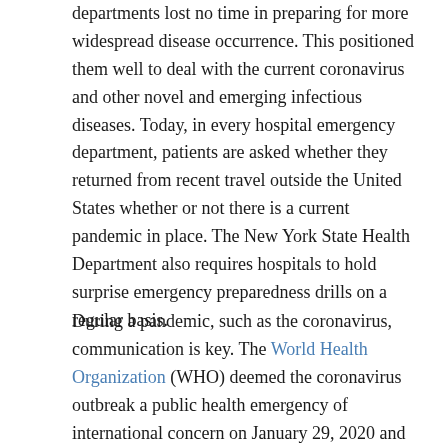departments lost no time in preparing for more widespread disease occurrence.  This positioned them well to deal with the current coronavirus and other novel and emerging infectious diseases.  Today, in every hospital emergency department, patients are asked whether they returned from recent travel outside the United States whether or not there is a current pandemic in place.  The New York State Health Department also requires hospitals to hold surprise emergency preparedness drills on a regular basis.
During a pandemic, such as the coronavirus, communication is key.  The World Health Organization (WHO) deemed the coronavirus outbreak a public health emergency of international concern on January 29, 2020 and the U.S. Department of Health and Human